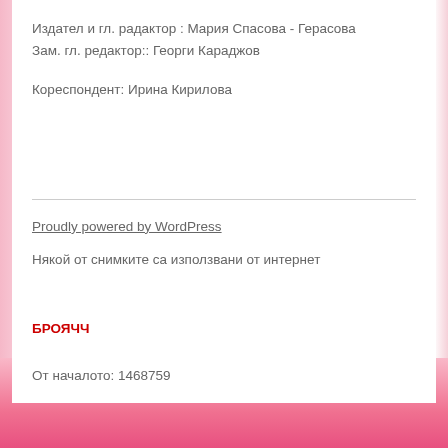Издател и гл. радактор : Мария Спасова - Герасова
Зам. гл. редактор:: Георги Караджов
Кореспондент: Ирина Кирилова
Proudly powered by WordPress
Някой от снимките са използвани от интернет
БРОЯЧЧ
От началото: 1468759